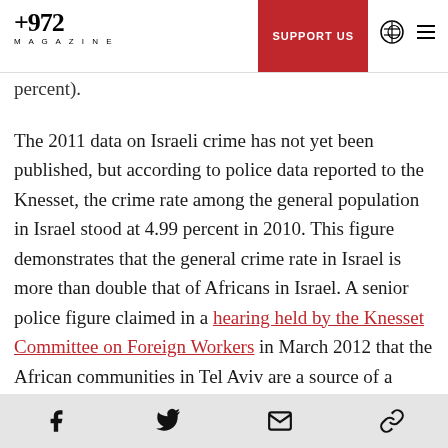+972 MAGAZINE | SUPPORT US
percent).
The 2011 data on Israeli crime has not yet been published, but according to police data reported to the Knesset, the crime rate among the general population in Israel stood at 4.99 percent in 2010. This figure demonstrates that the general crime rate in Israel is more than double that of Africans in Israel. A senior police figure claimed in a hearing held by the Knesset Committee on Foreign Workers in March 2012 that the African communities in Tel Aviv are a source of a sharp increase in crime.
Social share icons: Facebook, Twitter, Email, Link